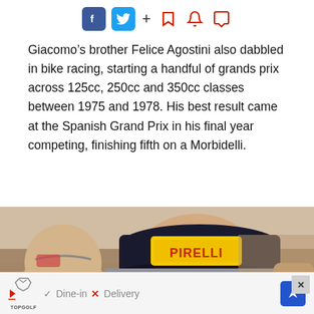[Figure (other): Social media sharing bar with Facebook, Twitter, bookmark, notification, and comment icons]
Giacomo’s brother Felice Agostini also dabbled in bike racing, starting a handful of grands prix across 125cc, 250cc and 350cc classes between 1975 and 1978. His best result came at the Spanish Grand Prix in his final year competing, finishing fifth on a Morbidelli.
[Figure (photo): Close-up photo of a man wearing a black cap with a yellow Pirelli logo badge, looking forward]
[Figure (other): Advertisement banner for Topgolf showing Dine-in and Delivery options with a blue arrow button]